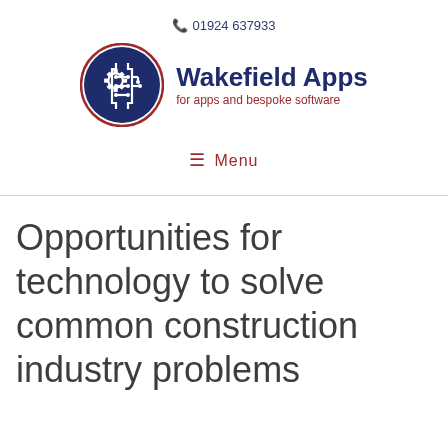01924 637933
[Figure (logo): Wakefield Apps logo — navy blue circle with gear and circuit board icon, text 'Wakefield Apps' in bold navy, subtitle 'for apps and bespoke software' in dark red]
≡ Menu
Opportunities for technology to solve common construction industry problems